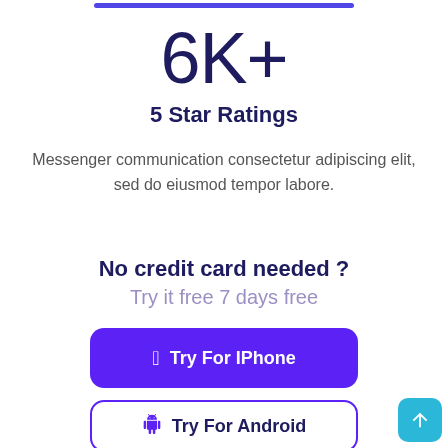6K+
5 Star Ratings
Messenger communication consectetur adipiscing elit, sed do eiusmod tempor labore.
No credit card needed ?
Try it free 7 days free
[Figure (other): Purple button labeled 'Try For IPhone' with Apple logo icon]
[Figure (other): Outlined button labeled 'Try For Android' with Android logo icon]
[Figure (other): Cyan scroll-to-top button with upward arrow icon in bottom-right corner]